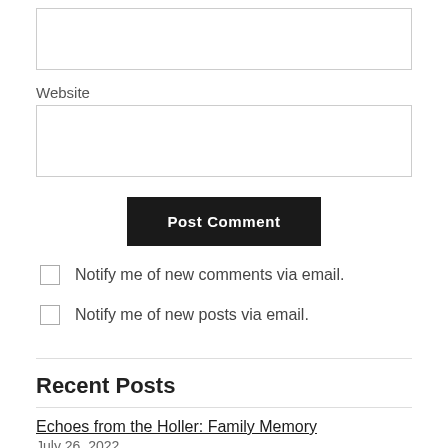(empty text input box at top)
Website
(website input box)
Post Comment
Notify me of new comments via email.
Notify me of new posts via email.
Recent Posts
Echoes from the Holler: Family Memory
July 26, 2022